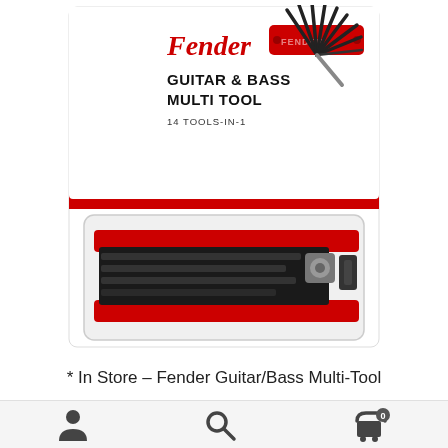[Figure (photo): Fender Guitar & Bass Multi-Tool product in retail packaging. White card backing with Fender logo in red cursive script, bold text reading 'GUITAR & BASS MULTI TOOL' and '14 TOOLS-IN-1'. A black and red folding multi-tool with hex keys fanned out is shown at top right. The lower portion shows the actual tool in clear plastic blister packaging with a red handle and multiple black tools folded in.]
* In Store – Fender Guitar/Bass Multi-Tool
[Figure (illustration): Bottom navigation bar with three icons: a person/user icon on the left, a search/magnifying glass icon in the center, and a shopping cart icon with a badge showing '0' on the right.]